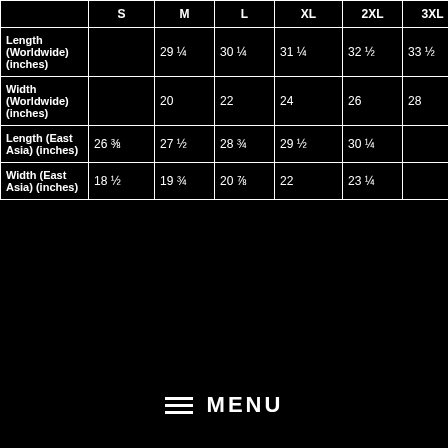|  | S | M | L | XL | 2XL | 3XL |
| --- | --- | --- | --- | --- | --- | --- |
| Length (Worldwide) (inches) |  | 29 ¼ | 30 ¼ | 31 ¼ | 32 ½ | 33 ½ |
| Width (Worldwide) (inches) |  | 20 | 22 | 24 | 26 | 28 |
| Length (East Asia) (inches) | 26 ⅜ | 27 ½ | 28 ¾ | 29 ½ | 30 ¼ |  |
| Width (East Asia) (inches) | 18 ½ | 19 ¾ | 20 ⅞ | 22 | 23 ¼ |  |
≡ MENU